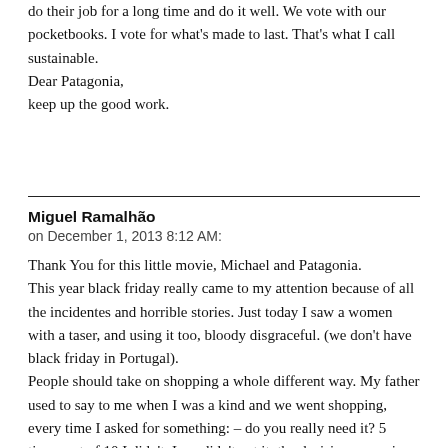do their job for a long time and do it well. We vote with our pocketbooks. I vote for what's made to last. That's what I call sustainable.
Dear Patagonia,
keep up the good work.
Miguel Ramalhão
on December 1, 2013 8:12 AM:
Thank You for this little movie, Michael and Patagonia.
This year black friday really came to my attention because of all the incidentes and horrible stories. Just today I saw a women with a taser, and using it too, bloody disgraceful. (we don't have black friday in Portugal).
People should take on shopping a whole different way. My father used to say to me when I was a kind and we went shopping, every time I asked for something: – do you really need it? 5 times out of 10 I didn't, I we didn't get it, the decision was mine. This gave me an appreciation to all things beautiful and well built. Because we didn't buy everything, when it was time to buy we could get the truly great